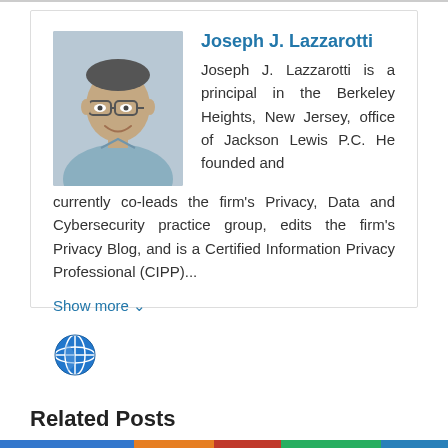[Figure (photo): Headshot photo of Joseph J. Lazzarotti, a middle-aged man with glasses and short dark hair, wearing a light blue shirt, smiling.]
Joseph J. Lazzarotti
Joseph J. Lazzarotti is a principal in the Berkeley Heights, New Jersey, office of Jackson Lewis P.C. He founded and currently co-leads the firm's Privacy, Data and Cybersecurity practice group, edits the firm's Privacy Blog, and is a Certified Information Privacy Professional (CIPP)...
Show more ∨
[Figure (illustration): Globe icon (world/internet icon) in blue and white.]
Related Posts